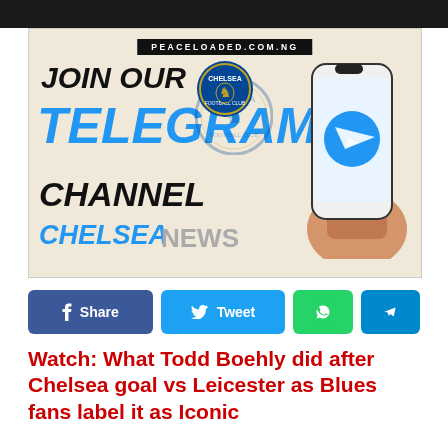[Figure (infographic): Chelsea FC Telegram channel promotion banner with text JOIN OUR TELEGRAM CHANNEL CHELSEA NEWS, phone showing Telegram logo, Chelsea FC badges, on peaceloaded.com.ng]
[Figure (infographic): Social media share buttons row: Facebook Share, Twitter Tweet, WhatsApp, Telegram]
Watch: What Todd Boehly did after Chelsea goal vs Leicester as Blues fans label it as Iconic